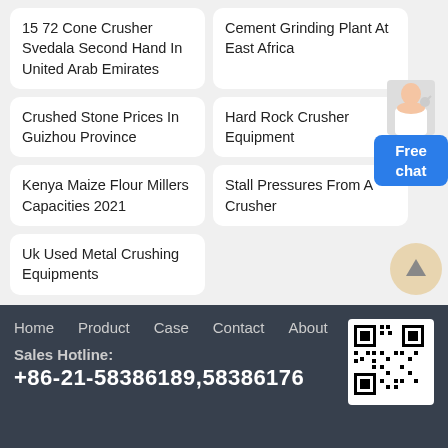15 72 Cone Crusher Svedala Second Hand In United Arab Emirates
Cement Grinding Plant At East Africa
Crushed Stone Prices In Guizhou Province
Hard Rock Crusher Equipment
Kenya Maize Flour Millers Capacities 2021
Stall Pressures From A Crusher
Uk Used Metal Crushing Equipments
Free chat
Home  Product  Case  Contact  About
Sales Hotline:
+86-21-58386189,58386176
[Figure (other): QR code for contact]